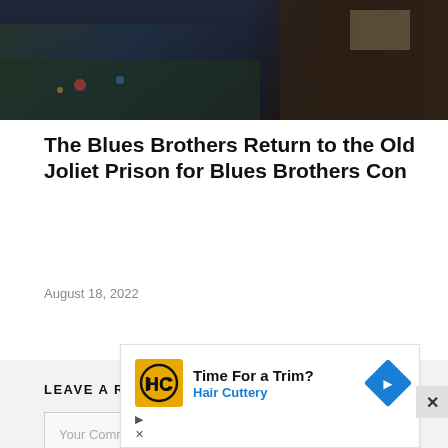[Figure (photo): Dark photograph showing a crowd at an outdoor event on the left and a person in a dark jacket on the right]
The Blues Brothers Return to the Old Joliet Prison for Blues Brothers Con
August 18, 2022
LEAVE A REPLY
Your Comment
[Figure (infographic): Advertisement: Hair Cuttery - Time For a Trim? with HC logo and blue arrow navigation icon]